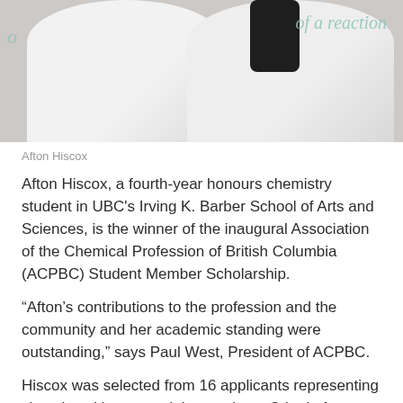[Figure (photo): Two people wearing white lab coats in front of a whiteboard with handwritten text reading 'of a reaction']
Afton Hiscox
Afton Hiscox, a fourth-year honours chemistry student in UBC's Irving K. Barber School of Arts and Sciences, is the winner of the inaugural Association of the Chemical Profession of British Columbia (ACPBC) Student Member Scholarship.
“Afton’s contributions to the profession and the community and her academic standing were outstanding,” says Paul West, President of ACPBC.
Hiscox was selected from 16 applicants representing six universities around the province. Criteria for awarding the $1,000 scholarship included membership in the ACPBC, academic standing, a declared major in chemistry, and exemplary activities